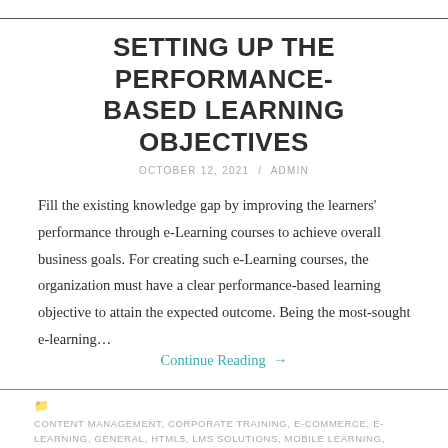SETTING UP THE PERFORMANCE-BASED LEARNING OBJECTIVES
OCTOBER 12, 2021 / ADMIN
Fill the existing knowledge gap by improving the learners' performance through e-Learning courses to achieve overall business goals. For creating such e-Learning courses, the organization must have a clear performance-based learning objective to attain the expected outcome. Being the most-sought e-learning…
Continue Reading →
CONTENT MANAGEMENT, CORPORATE TRAINING, E-COMMERCE, E-LEARNING, GENERAL, HTML5, LMS SOLUTIONS, MOBILE LEARNING, MOOC CUSTOMIZATION, MOODLE, MOODLE CUSTOMIZATION, OPEN SOURCE CUSTOMIZATIONS
ANALYZE THE MISSING SKILLS, BUSINESS, BUSINESS GOALS, COMPOSE APPROPRIATE